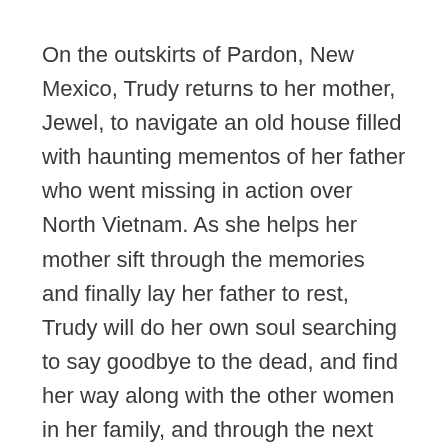On the outskirts of Pardon, New Mexico, Trudy returns to her mother, Jewel, to navigate an old house filled with haunting mementos of her father who went missing in action over North Vietnam. As she helps her mother sift through the memories and finally lay her father to rest, Trudy will do her own soul searching to say goodbye to the dead, and find her way along with the other women in her family, and through the next election.
The Writer's Block Radio Show airs on LA Talk Radio. Airs live every Thursday on LA